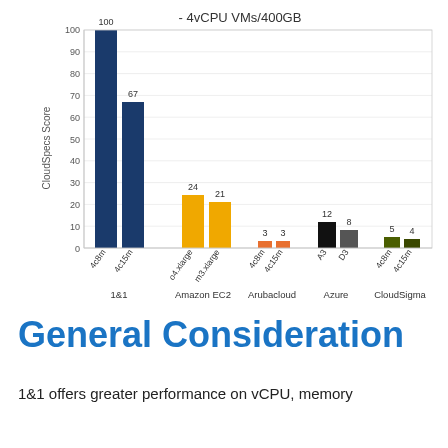[Figure (grouped-bar-chart): - 4vCPU VMs/400GB]
General Consideration
1&1 offers greater performance on vCPU, memory